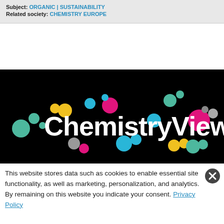Subject: ORGANIC | SUSTAINABILITY
Related society: CHEMISTRY EUROPE
[Figure (logo): ChemistryViews logo on black background with colorful circles]
This website stores data such as cookies to enable essential site functionality, as well as marketing, personalization, and analytics. By remaining on this website you indicate your consent. Privacy Policy